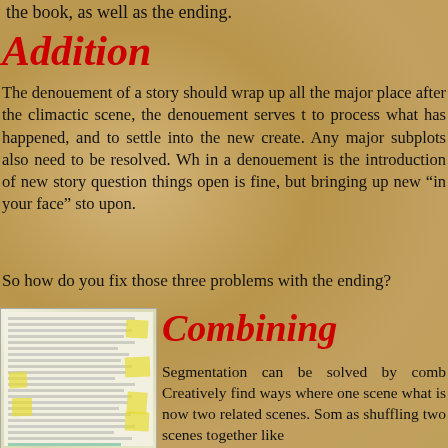the book, as well as the ending.
Addition
The denouement of a story should wrap up all the major place after the climactic scene, the denouement serves t to process what has happened, and to settle into the new create. Any major subplots also need to be resolved. Wh in a denouement is the introduction of new story question things open is fine, but bringing up new "in your face" sto upon.
So how do you fix those three problems with the ending?
[Figure (photo): Photo of a manuscript with yellow sticky notes and green highlighting]
Combining
Segmentation can be solved by comb Creatively find ways where one scene what is now two related scenes. Som as shuffling two scenes together like